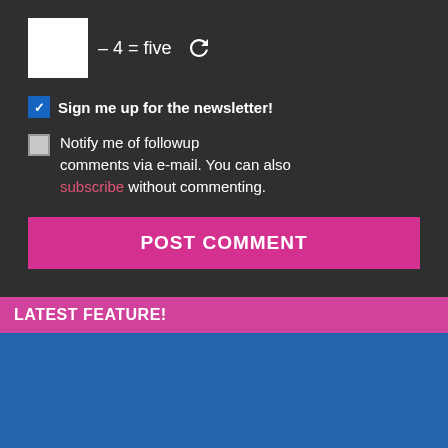[Figure (other): CAPTCHA widget showing a white square box followed by the text '– 4 = five' and a refresh icon on a dark background]
Sign me up for the newsletter!
Notify me of followup comments via e-mail. You can also subscribe without commenting.
POST COMMENT
LATEST FEATURE!
[Figure (logo): U.S.News logo in white text on a blue background]